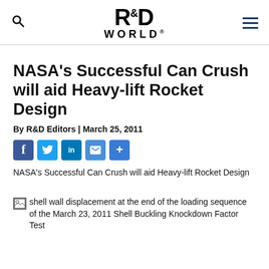R&D WORLD
NASA's Successful Can Crush will aid Heavy-lift Rocket Design
By R&D Editors | March 25, 2011
NASA's Successful Can Crush will aid Heavy-lift Rocket Design
shell wall displacement at the end of the loading sequence of the March 23, 2011 Shell Buckling Knockdown Factor Test